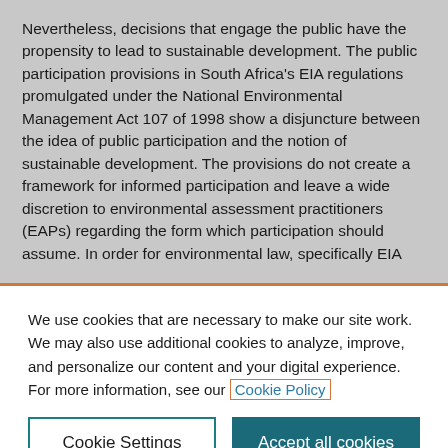Nevertheless, decisions that engage the public have the propensity to lead to sustainable development. The public participation provisions in South Africa's EIA regulations promulgated under the National Environmental Management Act 107 of 1998 show a disjuncture between the idea of public participation and the notion of sustainable development. The provisions do not create a framework for informed participation and leave a wide discretion to environmental assessment practitioners (EAPs) regarding the form which participation should assume. In order for environmental law, specifically EIA
We use cookies that are necessary to make our site work. We may also use additional cookies to analyze, improve, and personalize our content and your digital experience. For more information, see our Cookie Policy
Cookie Settings
Accept all cookies